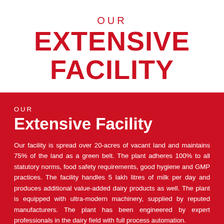OUR EXTENSIVE FACILITY
OUR Extensive Facility
Our facility is spread over 20-acres of vacant land and maintains 75% of the land as a green belt. The plant adheres 100% to all statutory norms, food safety requirements, good hygiene and GMP practices. The facility handles 5 lakh litres of milk per day and produces additional value-added dairy products as well. The plant is equipped with ultra-modern machinery, supplied by reputed manufacturers. The plant has been engineered by expert professionals in the dairy field with full process automation.